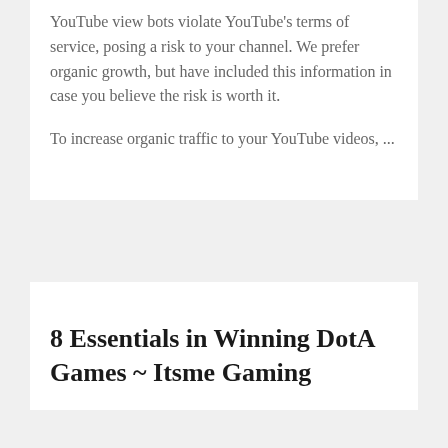YouTube view bots violate YouTube's terms of service, posing a risk to your channel. We prefer organic growth, but have included this information in case you believe the risk is worth it.
To increase organic traffic to your YouTube videos, ...
8 Essentials in Winning DotA Games ~ Itsme Gaming